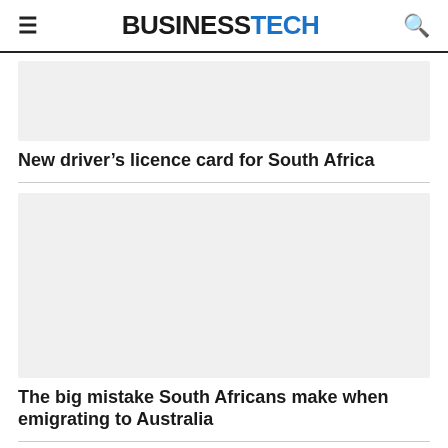BUSINESSTECH
[Figure (photo): Placeholder image area for article about new driver's licence card for South Africa]
New driver’s licence card for South Africa
[Figure (photo): Placeholder image area for article about the big mistake South Africans make when emigrating to Australia]
The big mistake South Africans make when emigrating to Australia
[Figure (photo): Placeholder image area for a third article (partially visible)]